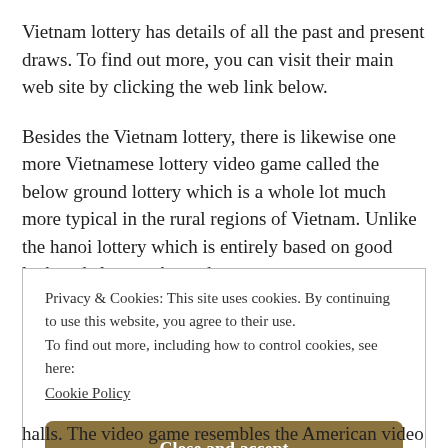Vietnam lottery has details of all the past and present draws. To find out more, you can visit their main web site by clicking the web link below.
Besides the Vietnam lottery, there is likewise one more Vietnamese lottery video game called the below ground lottery which is a whole lot much more typical in the rural regions of Vietnam. Unlike the hanoi lottery which is entirely based on good luck and also numbers, the
Privacy & Cookies: This site uses cookies. By continuing to use this website, you agree to their use.
To find out more, including how to control cookies, see here: Cookie Policy
Close and accept
halls. The video game resembles the American video